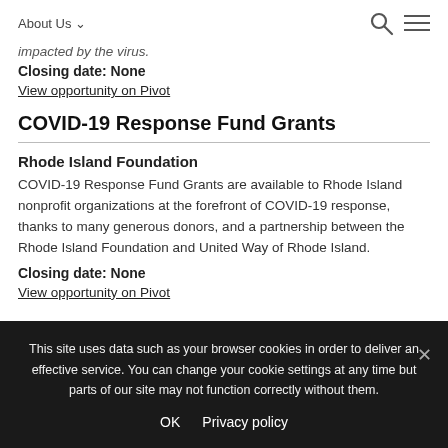About Us ▾
impacted by the virus.
Closing date: None
View opportunity on Pivot
COVID-19 Response Fund Grants
Rhode Island Foundation
COVID-19 Response Fund Grants are available to Rhode Island nonprofit organizations at the forefront of COVID-19 response, thanks to many generous donors, and a partnership between the Rhode Island Foundation and United Way of Rhode Island.
Closing date: None
View opportunity on Pivot
This site uses data such as your browser cookies in order to deliver an effective service. You can change your cookie settings at any time but parts of our site may not function correctly without them.